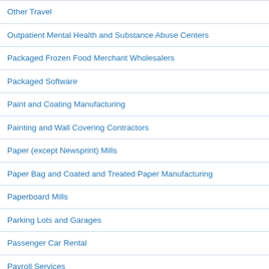Other Travel
Outpatient Mental Health and Substance Abuse Centers
Packaged Frozen Food Merchant Wholesalers
Packaged Software
Paint and Coating Manufacturing
Painting and Wall Covering Contractors
Paper (except Newsprint) Mills
Paper Bag and Coated and Treated Paper Manufacturing
Paperboard Mills
Parking Lots and Garages
Passenger Car Rental
Payroll Services
Periodical Publishers